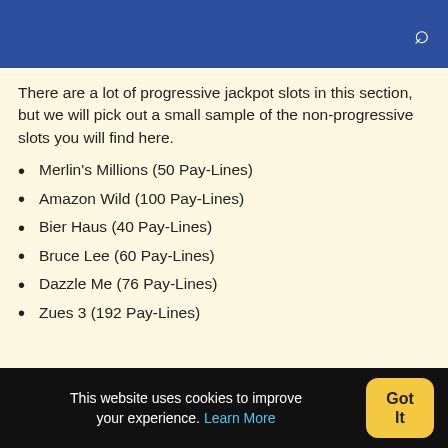There are a lot of progressive jackpot slots in this section, but we will pick out a small sample of the non-progressive slots you will find here.
Merlin's Millions (50 Pay-Lines)
Amazon Wild (100 Pay-Lines)
Bier Haus (40 Pay-Lines)
Bruce Lee (60 Pay-Lines)
Dazzle Me (76 Pay-Lines)
Zues 3 (192 Pay-Lines)
This website uses cookies to improve your experience. Learn More Got It